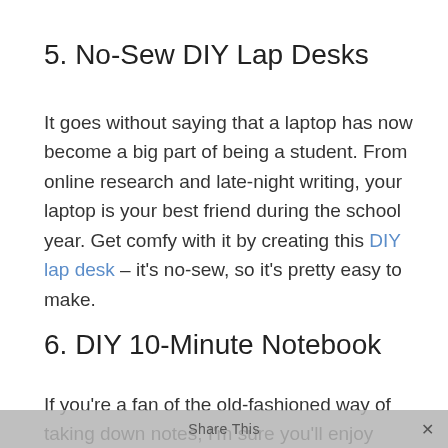5. No-Sew DIY Lap Desks
It goes without saying that a laptop has now become a big part of being a student. From online research and late-night writing, your laptop is your best friend during the school year. Get comfy with it by creating this DIY lap desk – it's no-sew, so it's pretty easy to make.
6. DIY 10-Minute Notebook
If you're a fan of the old-fashioned way of taking down notes, I'm sure you'll enjoy whipping up this
Share This ✕